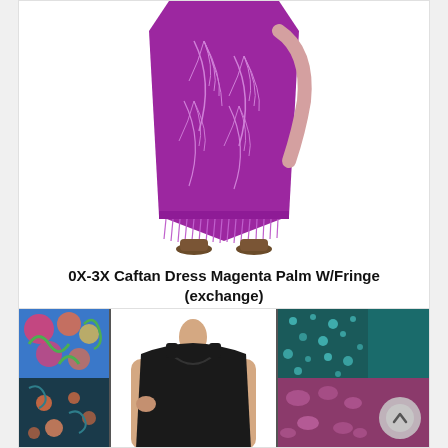[Figure (photo): Purple/magenta caftan dress with palm leaf pattern and fringe hem, worn by a model, white background]
0X-3X Caftan Dress Magenta Palm W/Fringe (exchange)
$49.99  $69.00
[Figure (photo): Product listing thumbnail grid showing a black sleeveless tank dress in center, with colorful fabric swatches on left and teal/magenta pattern swatches on right, plus a back-to-top arrow button]